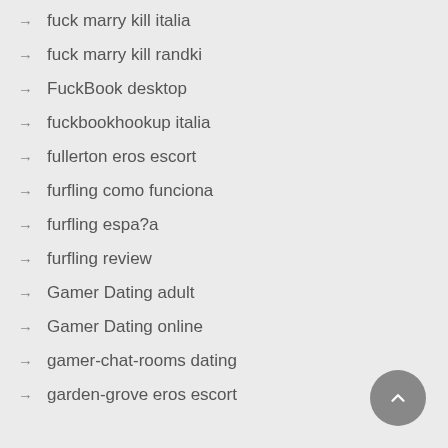→ fuck marry kill italia
→ fuck marry kill randki
→ FuckBook desktop
→ fuckbookhookup italia
→ fullerton eros escort
→ furfling como funciona
→ furfling espa?a
→ furfling review
→ Gamer Dating adult
→ Gamer Dating online
→ gamer-chat-rooms dating
→ garden-grove eros escort